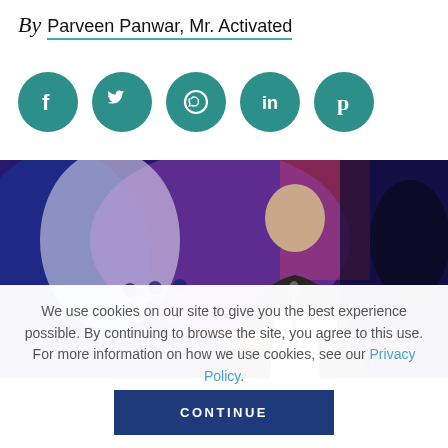By Parveen Panwar, Mr. Activated
[Figure (illustration): Five teal social media icon circles: Facebook, Twitter, WhatsApp, LinkedIn, Pinterest]
[Figure (photo): A bald man in a dark suit speaking at a microphone at a conference event with colorful backdrop]
We use cookies on our site to give you the best experience possible. By continuing to browse the site, you agree to this use. For more information on how we use cookies, see our Privacy Policy.
CONTINUE